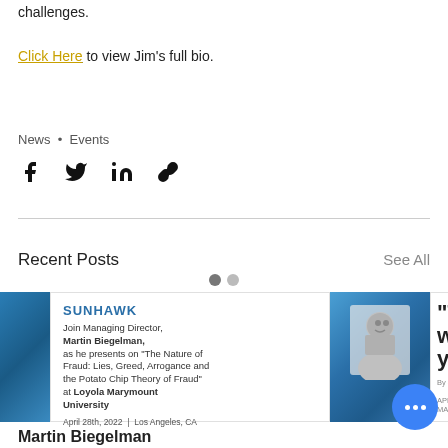challenges.
Click Here to view Jim's full bio.
News • Events
[Figure (infographic): Social share icons: Facebook, Twitter, LinkedIn, link/chain icon]
Recent Posts
See All
[Figure (infographic): Carousel navigation dots, two circles, first filled darker]
[Figure (infographic): Card showing SUNHAWK event with Martin Biegelman photo, text: Join Managing Director, Martin Biegelman, as he presents on 'The Nature of Fraud: Lies, Greed, Arrogance and the Potato Chip Theory of Fraud' at Loyola Marymount University. April 28th, 2022 | Los Angeles, CA]
Martin Biegelman